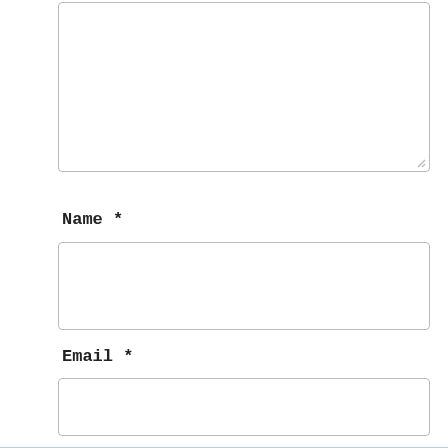[Figure (screenshot): Empty textarea form field at top of page, with resize handle at bottom-right corner]
Name *
[Figure (screenshot): Empty single-line text input field for Name]
Email *
[Figure (screenshot): Empty single-line text input field for Email]
Privacy & Cookies: This site uses cookies. By continuing to use this website, you agree to their use.
To find out more, including how to control cookies, see here: Cookie Policy
Close and accept